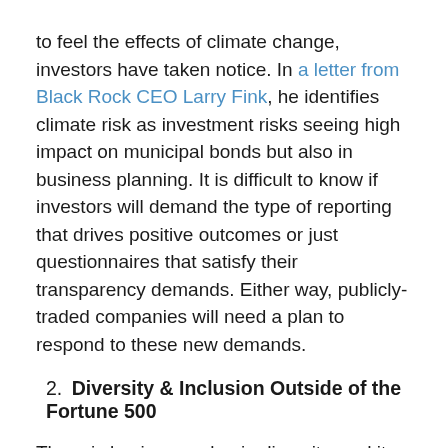to feel the effects of climate change, investors have taken notice. In a letter from Black Rock CEO Larry Fink, he identifies climate risk as investment risks seeing high impact on municipal bonds but also in business planning. It is difficult to know if investors will demand the type of reporting that drives positive outcomes or just questionnaires that satisfy their transparency demands. Either way, publicly-traded companies will need a plan to respond to these new demands.
2. Diversity & Inclusion Outside of the Fortune 500
There is business value in diversity, and it also creates a great work environment. A McKinsey Study found a strong correlation between a diverse workplace and strong business performance. One way to increase diversity in your recruiting pool is to show diversity on your company social media and website. Community events are a great way to connect with different